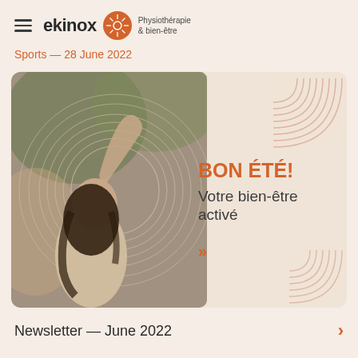ekinox Physiothérapie & bien-être
Sports — 28 June 2022
[Figure (photo): Promotional banner for Ekinox physiotherapy clinic. Left side: photo of a woman with curly hair stretching her arm overhead, surrounded by circular motion-blur lines. Right side: text reading 'BON ÉTÉ! Votre bien-être activé' with a double chevron arrow, and decorative concentric arc shapes in the corners.]
Newsletter — June 2022